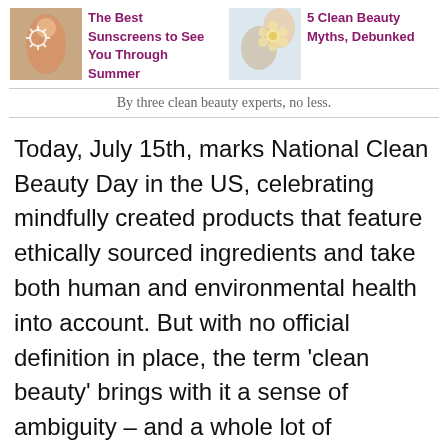[Figure (photo): Thumbnail image of a person's back with a sun drawn in sunscreen]
The Best Sunscreens to See You Through Summer
[Figure (photo): Thumbnail image of hands holding a flower]
5 Clean Beauty Myths, Debunked
By three clean beauty experts, no less.
Today, July 15th, marks National Clean Beauty Day in the US, celebrating mindfully created products that feature ethically sourced ingredients and take both human and environmental health into account. But with no official definition in place, the term 'clean beauty' brings with it a sense of ambiguity – and a whole lot of questions. Does sacrificing synthetics impact their effectiveness? Is clean beauty as elitist as the rest of the wellness